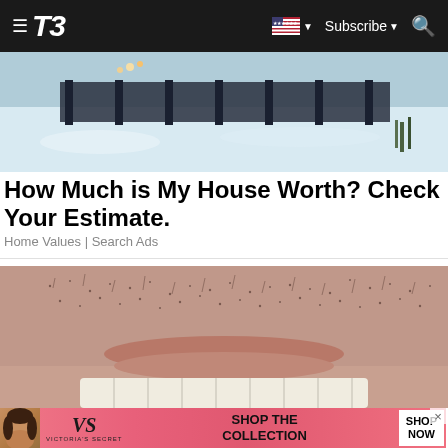T3 — Subscribe
[Figure (photo): Snowy outdoor scene, aerial or elevated view of a snow-covered yard or patio area]
How Much is My House Worth? Check Your Estimate.
Home Values | Search Ads
[Figure (photo): Close-up photo of facial hair / stubble around the chin and upper lip area, with white teeth visible at the bottom]
[Figure (photo): Victoria's Secret advertisement banner with woman's face, VS logo, SHOP THE COLLECTION text, and SHOP NOW button]